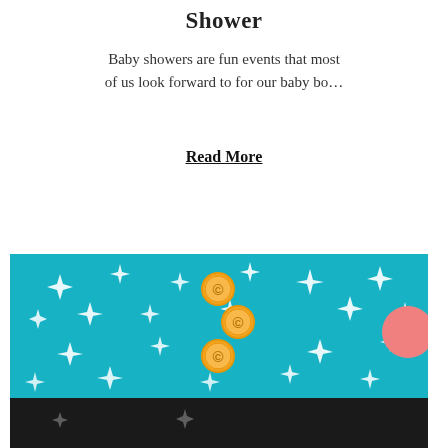Shower
Baby showers are fun events that most of us look forward to for our baby bo…
Read More
[Figure (illustration): Teal background illustration with white sparkle/star shapes scattered across it, three gold coin icons with 'C' symbol arranged vertically in the center, a pink circle on the right side, and a dark bottom section with faint sparkle shapes.]